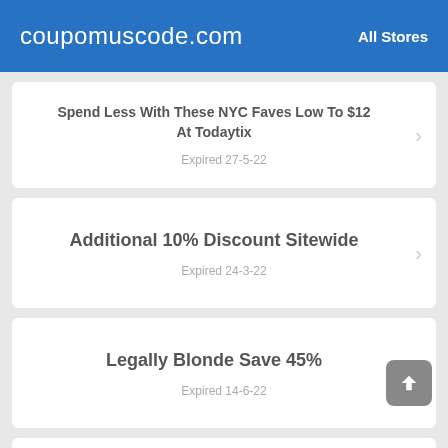coupomuscode.com | All Stores
Spend Less With These NYC Faves Low To $12 At Todaytix
Expired 27-5-22
Additional 10% Discount Sitewide
Expired 24-3-22
Legally Blonde Save 45%
Expired 14-6-22
Johnso...